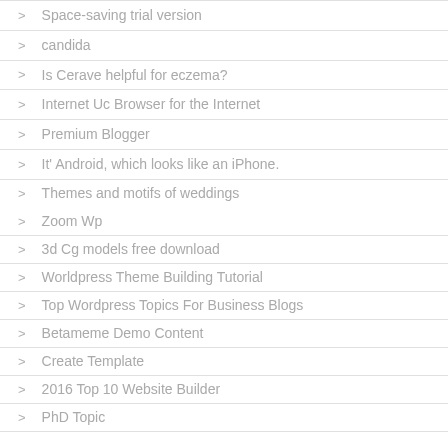Space-saving trial version
candida
Is Cerave helpful for eczema?
Internet Uc Browser for the Internet
Premium Blogger
It' Android, which looks like an iPhone.
Themes and motifs of weddings
Zoom Wp
3d Cg models free download
Worldpress Theme Building Tutorial
Top Wordpress Topics For Business Blogs
Betameme Demo Content
Create Template
2016 Top 10 Website Builder
PhD Topic